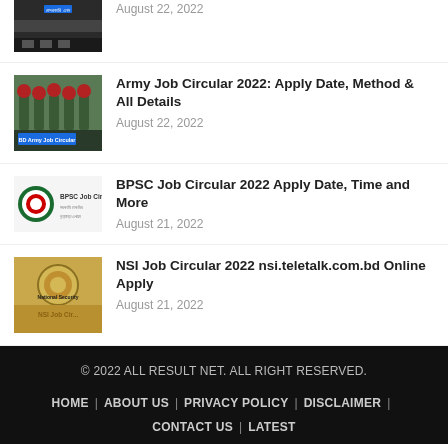[Figure (photo): Thumbnail image of a dark road/transport scene with Bengali text, partial top of first article item]
August 22, 2022
[Figure (photo): Thumbnail of BD Army soldiers marching in green uniforms and red berets, with 'BD Army Job Circular' label overlay]
Army Job Circular 2022: Apply Date, Method & All Details
August 22, 2022
[Figure (logo): BPSC Job Circular logo with red-green circular emblem and text 'BPSC Job Circular']
BPSC Job Circular 2022 Apply Date, Time and More
August 21, 2022
[Figure (photo): NSI Job Circular thumbnail with golden/tan background, text 'National Security' and 'NSI Job Cir...' in dark and gold colors]
NSI Job Circular 2022 nsi.teletalk.com.bd Online Apply
August 21, 2022
© 2022 ALL RESULT NET. ALL RIGHT RESERVED.
HOME | ABOUT US | PRIVACY POLICY | DISCLAIMER | CONTACT US | LATEST